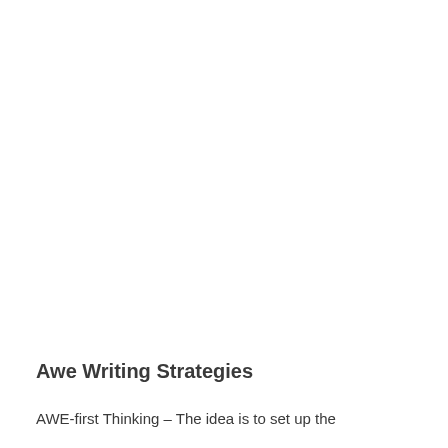Awe Writing Strategies
AWE-first Thinking – The idea is to set up the